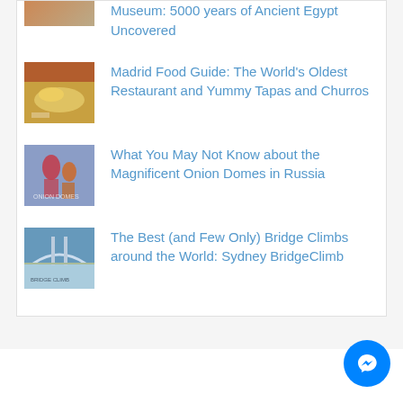[Figure (photo): Partially visible thumbnail image at top (cropped)]
Museum: 5000 years of Ancient Egypt Uncovered
[Figure (photo): Thumbnail of food items - Madrid food]
Madrid Food Guide: The World's Oldest Restaurant and Yummy Tapas and Churros
[Figure (photo): Thumbnail of Russian onion domes]
What You May Not Know about the Magnificent Onion Domes in Russia
[Figure (photo): Thumbnail of Sydney Harbour Bridge]
The Best (and Few Only) Bridge Climbs around the World: Sydney BridgeClimb